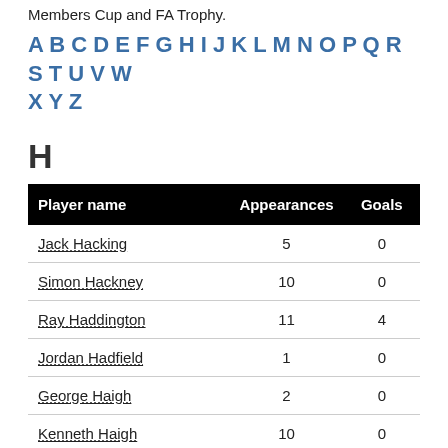Members Cup and FA Trophy.
A B C D E F G H I J K L M N O P Q R S T U V W X Y Z
H
| Player name | Appearances | Goals |
| --- | --- | --- |
| Jack Hacking | 5 | 0 |
| Simon Hackney | 10 | 0 |
| Ray Haddington | 11 | 4 |
| Jordan Hadfield | 1 | 0 |
| George Haigh | 2 | 0 |
| Kenneth Haigh | 10 | 0 |
| Bert Hales | 22 | 0 |
| Carl Halford | 80 | 4 |
| Danny Hall | 1 | 0 |